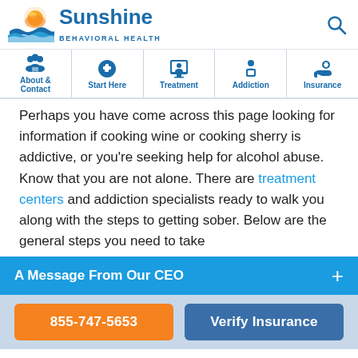[Figure (logo): Sunshine Behavioral Health logo with sun/waves graphic and text]
[Figure (infographic): Navigation bar with icons: About & Contact, Start Here, Treatment, Addiction, Insurance]
Perhaps you have come across this page looking for information if cooking wine or cooking sherry is addictive, or you’re seeking help for alcohol abuse. Know that you are not alone. There are treatment centers and addiction specialists ready to walk you along with the steps to getting sober. Below are the general steps you need to take
A Message From Our CEO
855-747-5653
Verify Insurance